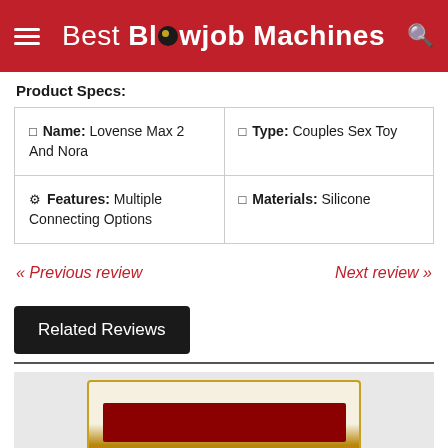Best Blowjob Machines
Product Specs:
| 🔲 Name: Lovense Max 2 And Nora | 🔲 Type: Couples Sex Toy |
| ⚙ Features: Multiple Connecting Options | 🔲 Materials: Silicone |
« Previous review    Next review »
Related Reviews
[Figure (photo): Product image of a red device with gold border at bottom of page]